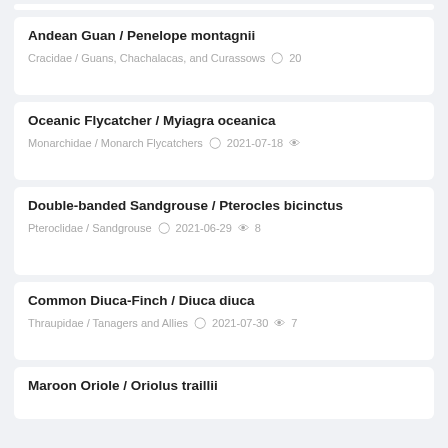Andean Guan / Penelope montagnii
Cracidae / Guans, Chachalacas, and Curassows  20
Oceanic Flycatcher / Myiagra oceanica
Monarchidae / Monarch Flycatchers  2021-07-18
Double-banded Sandgrouse / Pterocles bicinctus
Pteroclidae / Sandgrouse  2021-06-29  8
Common Diuca-Finch / Diuca diuca
Thraupidae / Tanagers and Allies  2021-07-30  7
Maroon Oriole / Oriolus traillii